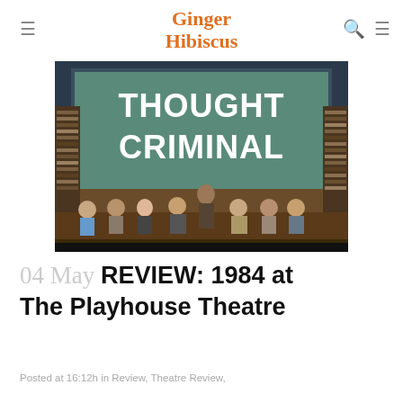Ginger Hibiscus
[Figure (photo): Stage performance photo showing actors seated in a row on stage with 'THOUGHT CRIMINAL' projected in large white bold text on the backdrop behind them. The set includes bookshelves on either side.]
04 May REVIEW: 1984 at The Playhouse Theatre
Posted at 16:12h in Review, Theatre Review,